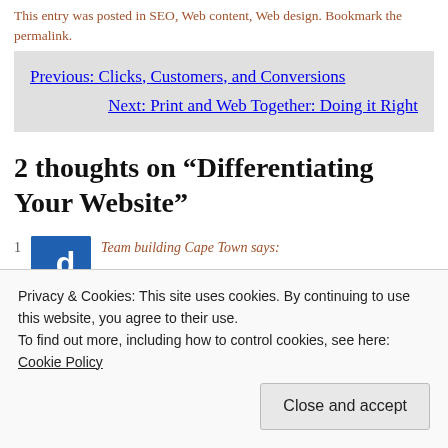This entry was posted in SEO, Web content, Web design. Bookmark the permalink.
Previous: Clicks, Customers, and Conversions
Next: Print and Web Together: Doing it Right
2 thoughts on “Differentiating Your Website”
1. Team building Cape Town says:
Privacy & Cookies: This site uses cookies. By continuing to use this website, you agree to their use.
To find out more, including how to control cookies, see here: Cookie Policy